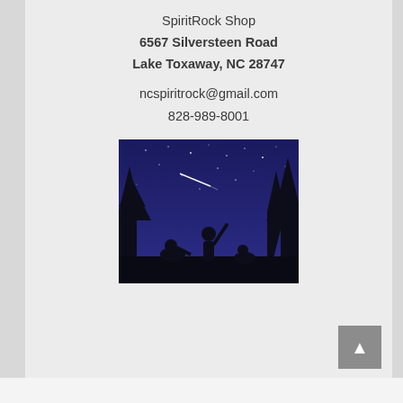SpiritRock Shop
6567 Silversteen Road
Lake Toxaway, NC 28747
ncspiritrock@gmail.com
828-989-8001
[Figure (illustration): Night sky scene with silhouettes of trees and people stargazing, one person pointing up at a shooting star against a deep blue/purple night sky with stars.]